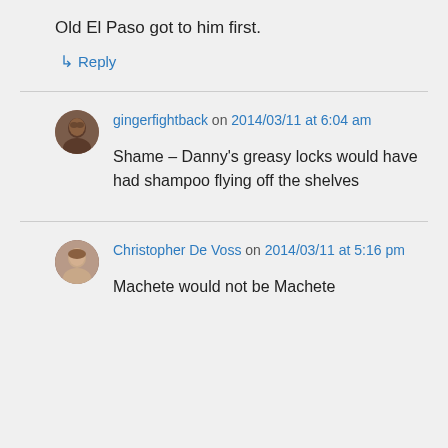Old El Paso got to him first.
↳ Reply
gingerfightback on 2014/03/11 at 6:04 am
Shame – Danny's greasy locks would have had shampoo flying off the shelves
Christopher De Voss on 2014/03/11 at 5:16 pm
Machete would not be Machete